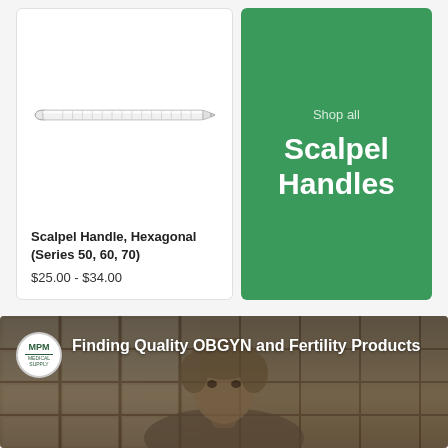[Figure (photo): Product card showing a scalpel handle (hexagonal, series 50, 60, 70) — a long thin cylindrical metal instrument illustrated as a line drawing]
Scalpel Handle, Hexagonal (Series 50, 60, 70)
$25.00 - $34.00
[Figure (other): Green promotional banner reading 'Shop all Scalpel Handles']
[Figure (screenshot): Video thumbnail showing MPM Medical Supply logo and a person, with text: Finding Quality OBGYN and Fertility Products]